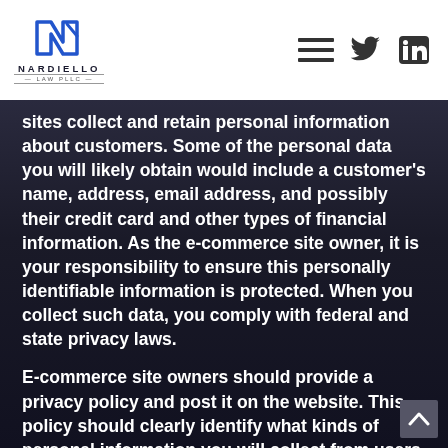[Figure (logo): Nardiello Law PLLC logo with stylized N icon and company name]
sites collect and retain personal information about customers. Some of the personal data you will likely obtain would include a customer's name, address, email address, and possibly their credit card and other types of financial information. As the e-commerce site owner, it is your responsibility to ensure this personally identifiable information is protected. When you collect such data, you comply with federal and state privacy laws.
E-commerce site owners should provide a privacy policy and post it on the website. This policy should clearly identify what kinds of personal information you will collect from users visiting your website, who you will share the information you collect with, and how you will use and store that information.